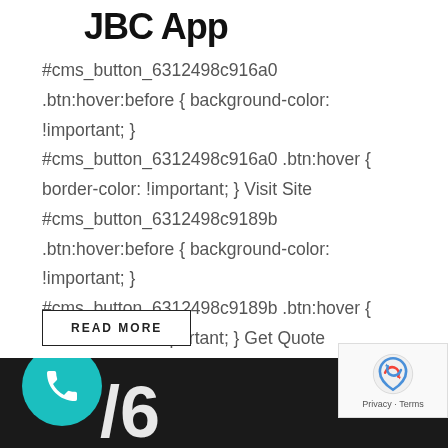JBC App
#cms_button_6312498c916a0 .btn:hover:before { background-color: !important; } #cms_button_6312498c916a0 .btn:hover { border-color: !important; } Visit Site #cms_button_6312498c9189b .btn:hover:before { background-color: !important; } #cms_button_6312498c9189b .btn:hover { border-color: !important; } Get Quote
READ MORE
[Figure (other): Dark bottom bar with teal phone bubble icon and partial large white number '6', plus reCAPTCHA widget in bottom right corner]